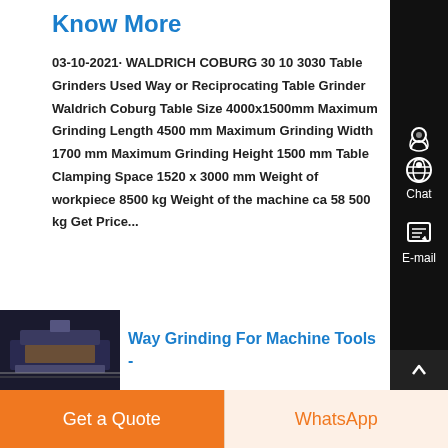Know More
03-10-2021· WALDRICH COBURG 30 10 3030 Table Grinders Used Way or Reciprocating Table Grinder Waldrich Coburg Table Size 4000x1500mm Maximum Grinding Length 4500 mm Maximum Grinding Width 1700 mm Maximum Grinding Height 1500 mm Table Clamping Space 1520 x 3000 mm Weight of workpiece 8500 kg Weight of the machine ca 58 500 kg Get Price...
[Figure (photo): Thumbnail image of a grinding machine (dark industrial machinery)]
Way Grinding For Machine Tools -